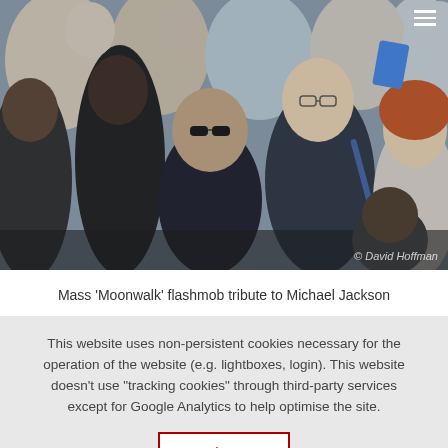[Figure (photo): A large crowd of people at an outdoor event. In the foreground, a woman with short dark hair and sunglasses smiles broadly, wearing a black top. Next to her, a young man in a dark blazer with glasses and a messenger bag appears to be cheering. To the right, a woman with curly red hair leans back. Many other people are visible in the background, with some holding phones and cameras. A copyright watermark reads '© David Hoffman'.]
Mass 'Moonwalk' flashmob tribute to Michael Jackson
This website uses non-persistent cookies necessary for the operation of the website (e.g. lightboxes, login). This website doesn't use "tracking cookies" through third-party services except for Google Analytics to help optimise the site.